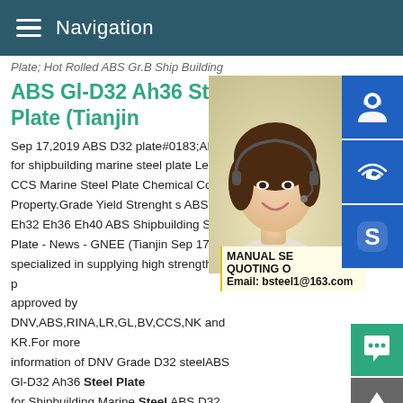Navigation
Plate; Hot Rolled ABS Gr.B Ship Building
ABS Gl-D32 Ah36 Steel Plate (Tianjin
[Figure (photo): Woman with headset smiling, customer service representative photo]
[Figure (infographic): Blue sidebar icons: customer support headset icon, phone/wifi icon, Skype icon]
Sep 17,2019 ABS D32 plate#0183;ABS G for shipbuilding marine steel plate Length CCS Marine Steel Plate Chemical Compo Property.Grade Yield Strenght s ABS Grac Eh32 Eh36 Eh40 ABS Shipbuilding SteAB Plate - News - GNEE (Tianjin Sep 17, by a specialized in supplying high strength stee approved by DNV,ABS,RINA,LR,GL,BV,CCS,NK and KR.For more information of DNV Grade D32 steelABS Gl-D32 Ah36 Steel Plate for Shipbuilding Marine Steel ABS D32 plateABS Gl-D32 Ah36 Steel Plate for Shipbuilding Marine Steel Plate - Dec 27, 2018
MANUAL SE QUOTING O Email: bsteel1@163.com
ABS BV GL A32\A36\D32\D36\E32 Hr Ship